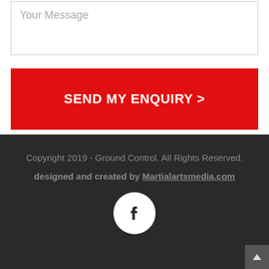Your Message
SEND MY ENQUIRY >
Copyright 2019 - Ground Control. All Rights Reserved.
designed and created by Martialartsmedia.com